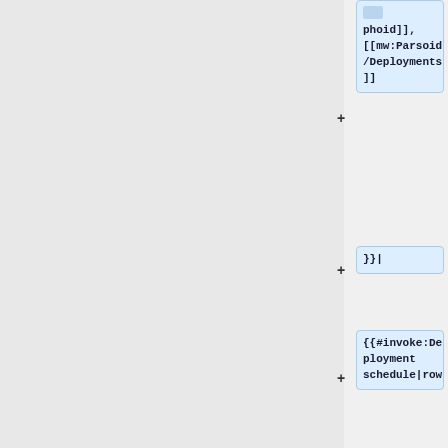phoid]], [[mw:Parsoid/Deployments]]
}}|
{{#invoke:Deployment schedule|row
|when=2020-01-07 11:00 SF
|length=1
|window=Pre MediaWiki train